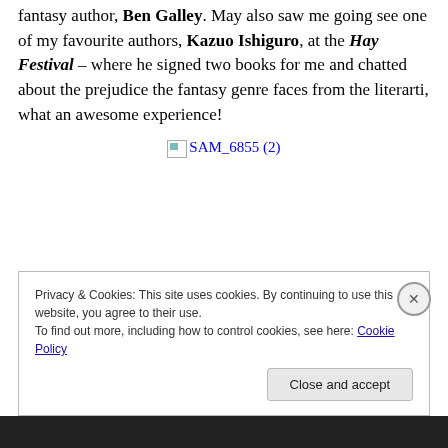fantasy author, Ben Galley. May also saw me going see one of my favourite authors, Kazuo Ishiguro, at the Hay Festival – where he signed two books for me and chatted about the prejudice the fantasy genre faces from the literarti, what an awesome experience!
[Figure (photo): Broken image placeholder showing 'SAM_6855 (2)' as alt text with a broken image icon]
Privacy & Cookies: This site uses cookies. By continuing to use this website, you agree to their use. To find out more, including how to control cookies, see here: Cookie Policy